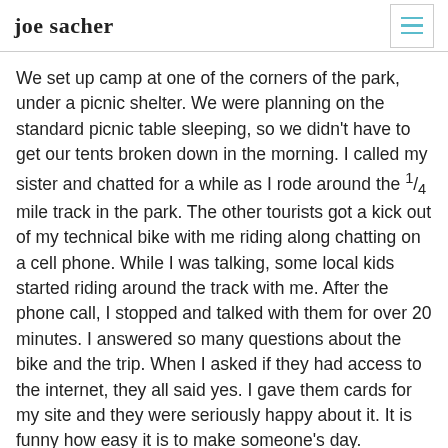joe sacher
We set up camp at one of the corners of the park, under a picnic shelter. We were planning on the standard picnic table sleeping, so we didn't have to get our tents broken down in the morning. I called my sister and chatted for a while as I rode around the 1/4 mile track in the park. The other tourists got a kick out of my technical bike with me riding along chatting on a cell phone. While I was talking, some local kids started riding around the track with me. After the phone call, I stopped and talked with them for over 20 minutes. I answered so many questions about the bike and the trip. When I asked if they had access to the internet, they all said yes. I gave them cards for my site and they were seriously happy about it. It is funny how easy it is to make someone's day.
[Figure (photo): Partial photo of a person or bicycle, cropped at bottom of page, with blurred greenery visible.]